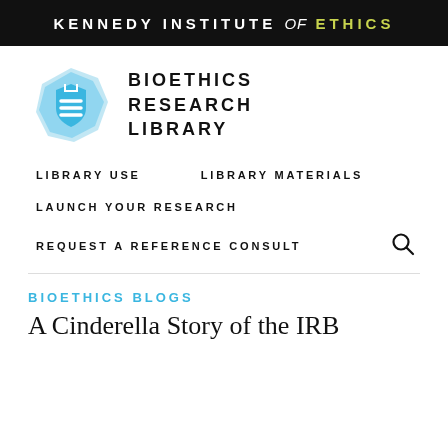KENNEDY INSTITUTE of ETHICS
[Figure (logo): Bioethics Research Library logo: blue polygon shield icon with white shield emblem, next to bold uppercase text BIOETHICS RESEARCH LIBRARY]
LIBRARY USE
LIBRARY MATERIALS
LAUNCH YOUR RESEARCH
REQUEST A REFERENCE CONSULT
BIOETHICS BLOGS
A Cinderella Story of the IRB